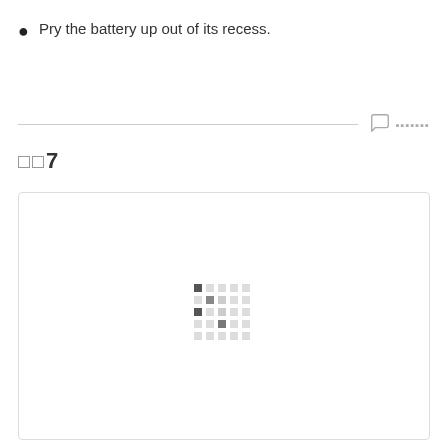Pry the battery up out of its recess.
[Figure (other): Loading spinner / placeholder dots pattern in a bordered white image box]
Step 7